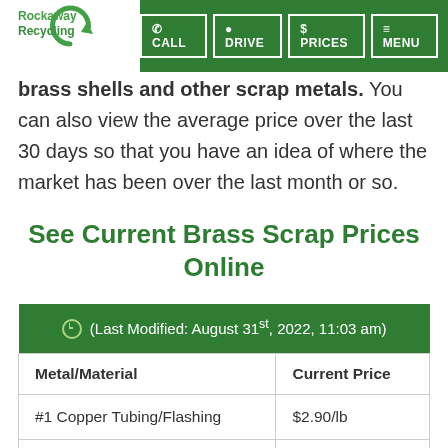Rockaway Recycling | CALL | DRIVE | $ PRICES | MENU
brass shells and other scrap metals. You can also view the average price over the last 30 days so that you have an idea of where the market has been over the last month or so.
See Current Brass Scrap Prices Online
| (Last Modified: August 31st, 2022, 11:03 am) |  |
| --- | --- |
| Metal/Material | Current Price |
| #1 Copper Tubing/Flashing | $2.90/lb |
| #2 Copper Tubing/ Bus Bar | $2.65/lb |